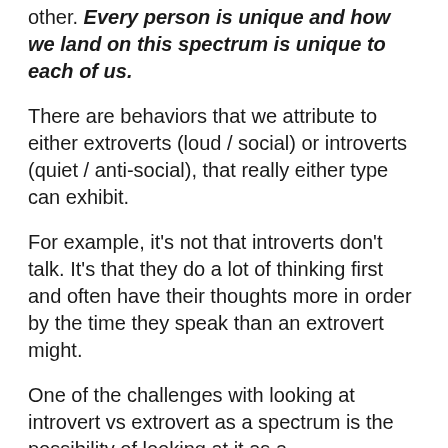other. Every person is unique and how we land on this spectrum is unique to each of us.
There are behaviors that we attribute to either extroverts (loud / social) or introverts (quiet / anti-social), that really either type can exhibit.
For example, it's not that introverts don't talk. It's that they do a lot of thinking first and often have their thoughts more in order by the time they speak than an extrovert might.
One of the challenges with looking at introvert vs extrovert as a spectrum is the possibility of looking at it as a